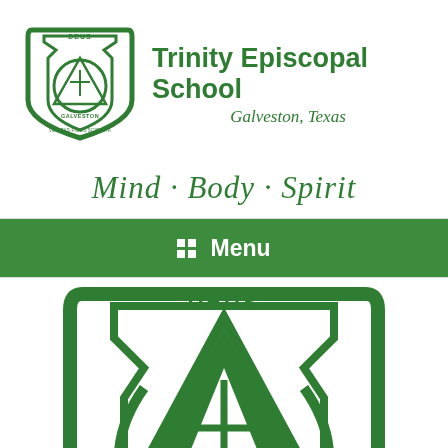[Figure (logo): Trinity Episcopal School shield logo — green crest with triangle, cross, and circular text reading DEUS, GALVESTON, VERITAS-FIDES-SCIENTIA]
Trinity Episcopal School
Galveston, Texas
Mind · Body · Spirit
Menu
[Figure (logo): Large Trinity Episcopal School shield logo (cropped) — green crest showing DEUS at top, large triangular shape with cross inside, partially visible at bottom of page]